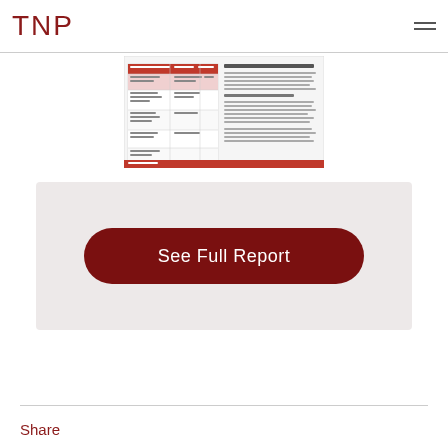TNP
[Figure (screenshot): Thumbnail preview of a TNP report document showing a table with red header row and text columns, with body text on the right side]
See Full Report
Share